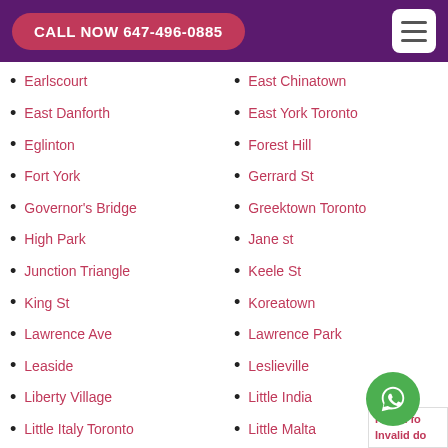CALL NOW 647-496-0885
Earlscourt
East Chinatown
East Danforth
East York Toronto
Eglinton
Forest Hill
Fort York
Gerrard St
Governor's Bridge
Greektown Toronto
High Park
Jane st
Junction Triangle
Keele St
King St
Koreatown
Lawrence Ave
Lawrence Park
Leaside
Leslieville
Liberty Village
Little India
Little Italy Toronto
Little Malta
Little Portugal
Little Tibet
Lytton Park
Main Square